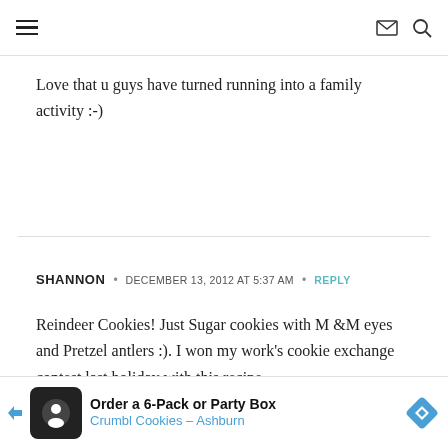Navigation header with hamburger menu, envelope icon, and search icon
Love that u guys have turned running into a family activity :-)
SHANNON • DECEMBER 13, 2012 AT 5:37 AM • REPLY
Reindeer Cookies! Just Sugar cookies with M &M eyes and Pretzel antlers :). I won my work's cookie exchange contest last holiday with this recipe
[Figure (other): Advertisement banner for Crumbl Cookies: Order a 6-Pack or Party Box, Crumbl Cookies - Ashburn]